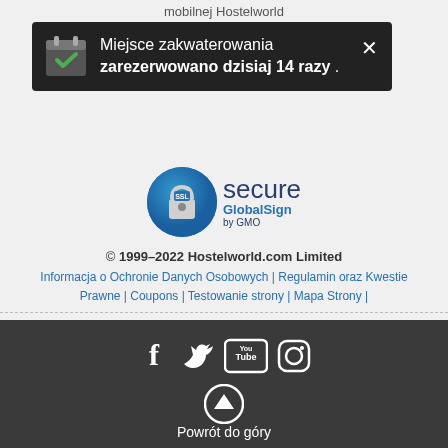mobilnej Hostelworld
Miejsce zakwaterowania zarezerwowano dzisiaj 14 razy .
[Figure (logo): SSL Secure GlobalSign by GMO logo]
© 1999–2022 Hostelworld.com Limited
Informacja o Ochronie Danych Osobowych | Regulamin oraz Kwestie Prawne | Coupons | Testowanie strony | Mapa Strony |
Pomoc
[Figure (infographic): Social media icons: Facebook, Twitter, YouTube, Instagram]
Powrót do góry